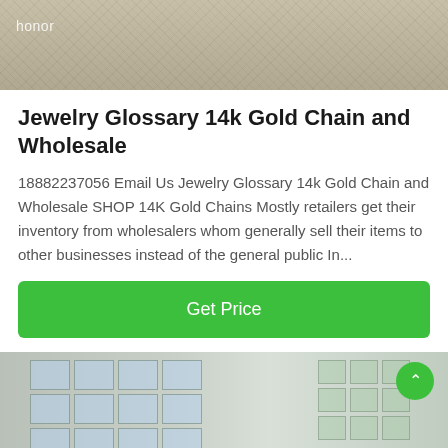[Figure (photo): Sandy/gravelly textured surface photo with 'honor' watermark in top-left corner]
Jewelry Glossary 14k Gold Chain and Wholesale
18882237056 Email Us Jewelry Glossary 14k Gold Chain and Wholesale SHOP 14K Gold Chains Mostly retailers get their inventory from wholesalers whom generally sell their items to other businesses instead of the general public In...
[Figure (other): Green 'Get Price' button]
[Figure (photo): Exterior building photo showing windows on white tiled wall, with a green scroll-up button overlay]
Leave Message  Chat Online